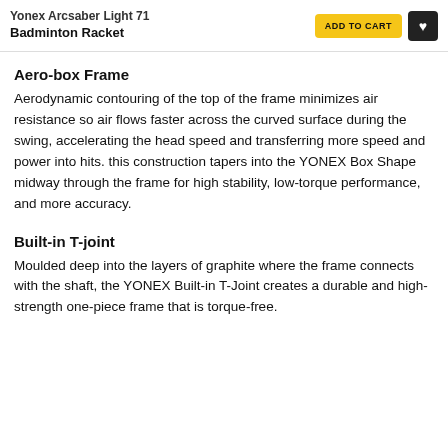Yonex Arcsaber Light 71 Badminton Racket
Aero-box Frame
Aerodynamic contouring of the top of the frame minimizes air resistance so air flows faster across the curved surface during the swing, accelerating the head speed and transferring more speed and power into hits. this construction tapers into the YONEX Box Shape midway through the frame for high stability, low-torque performance, and more accuracy.
Built-in T-joint
Moulded deep into the layers of graphite where the frame connects with the shaft, the YONEX Built-in T-Joint creates a durable and high-strength one-piece frame that is torque-free.